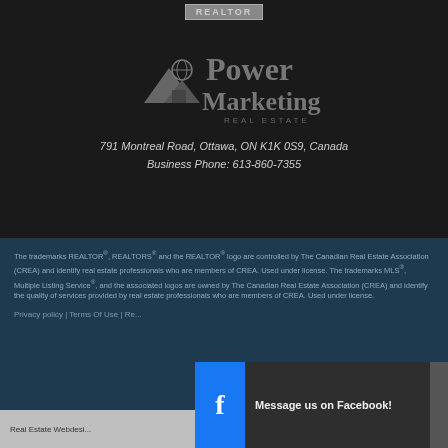[Figure (logo): REALTOR badge/text at top, gray on dark background]
[Figure (logo): Power Marketing Real Estate logo in gray on black background]
791 Montreal Road, Ottawa, ON K1K 0S9, Canada
Business Phone: 613-860-7355
The trademarks REALTOR®, REALTORS® and the REALTOR® logo are controlled by The Canadian Real Estate Association (CREA) and identify real estate professionals who are members of CREA. Used under license. The trademarks MLS®, Multiple Listing Service®, and the associated logos are owned by The Canadian Real Estate Association (CREA) and identify the quality of services provided by real estate professionals who are members of CREA. Used under license.
Privacy policy | Terms Of Use | Re...
Message us on Facebook!
Real Estate Webdesi...